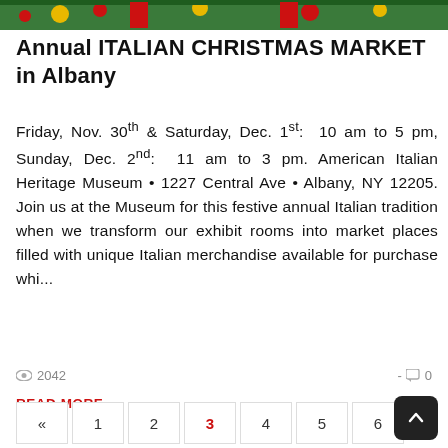[Figure (photo): Decorative Christmas-themed banner image with ornaments, pine branches, and red ribbon at the top of the page.]
Annual ITALIAN CHRISTMAS MARKET in Albany
Friday, Nov. 30th & Saturday, Dec. 1st: 10 am to 5 pm, Sunday, Dec. 2nd: 11 am to 3 pm. American Italian Heritage Museum • 1227 Central Ave • Albany, NY 12205. Join us at the Museum for this festive annual Italian tradition when we transform our exhibit rooms into market places filled with unique Italian merchandise available for purchase whi...
👁 2042  -  💬 0
READ MORE →
« 1 2 3 4 5 6